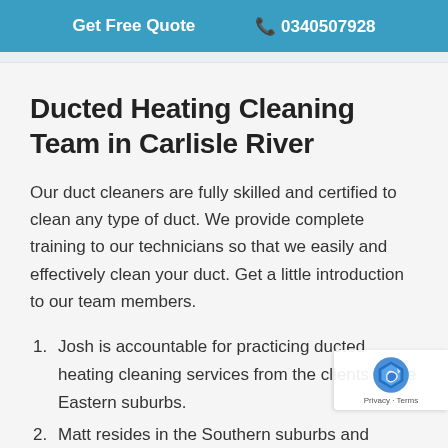Get Free Quote  📞 0340507928
Ducted Heating Cleaning Team in Carlisle River
Our duct cleaners are fully skilled and certified to clean any type of duct. We provide complete training to our technicians so that we easily and effectively clean your duct. Get a little introduction to our team members.
Josh is accountable for practicing ducted heating cleaning services from the clients of the Eastern suburbs.
Matt resides in the Southern suburbs and provides service to the clients living there.
Gus leads the duct cleaning requests of the Western suburbs.